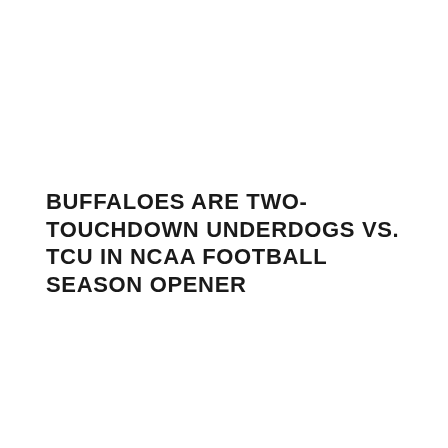BUFFALOES ARE TWO-TOUCHDOWN UNDERDOGS VS. TCU IN NCAA FOOTBALL SEASON OPENER